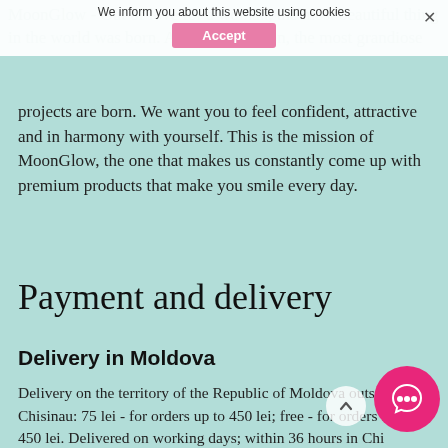We inform you about this website using cookies
Accept
MoonGlow - Out of love for a woman, the most beautiful thing in the world was born. And from passion, the most grandiose projects are born. We want you to feel confident, attractive and in harmony with yourself. This is the mission of MoonGlow, the one that makes us constantly come up with premium products that make you smile every day.
Payment and delivery
Delivery in Moldova
Delivery on the territory of the Republic of Moldova outside of Chisinau: 75 lei - for orders up to 450 lei; free - for orders from 450 lei. Delivered on working days; within 36 hours in Chi... he order is placed on the weekend, public holiday, or aft... order is processed on the next working day after placing it.